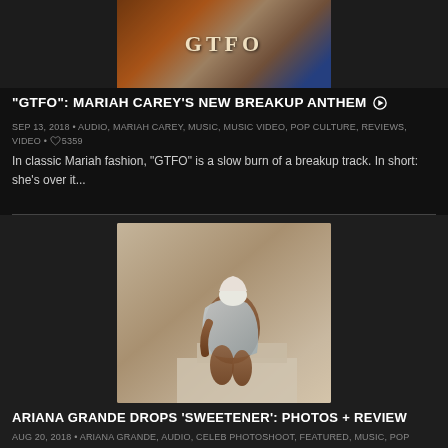[Figure (photo): GTFO album cover/music video still showing woman in dark lingerie]
“GTFO”: MARIAH CAREY’S NEW BREAKUP ANTHEM ▶
SEP 13, 2018 • AUDIO, MARIAH CAREY, MUSIC, MUSIC VIDEO, POP CULTURE, REVIEWS, VIDEO • ♡ 5359
In classic Mariah fashion, "GTFO" is a slow burn of a breakup track. In short: she’s over it...
[Figure (photo): Ariana Grande photo shoot image, woman with white hair crouching on stairs wearing a robe]
ARIANA GRANDE DROPS ‘SWEETENER’: PHOTOS + REVIEW
AUG 20, 2018 • ARIANA GRANDE, AUDIO, CELEB PHOTOSHOOT, FEATURED, MUSIC, POP